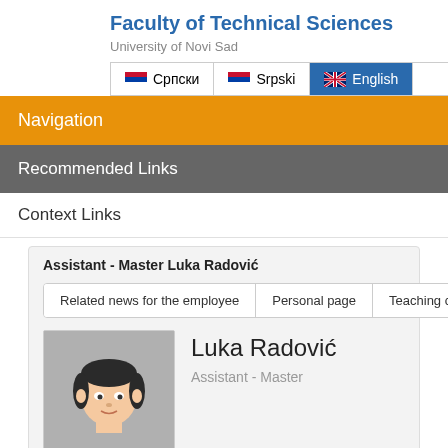Faculty of Technical Sciences
University of Novi Sad
[Figure (screenshot): Language selection bar with Српски, Srpski, English (active/highlighted in blue) buttons and a search box]
Navigation
Recommended Links
Context Links
Assistant - Master Luka Radović
Related news for the employee | Personal page | Teaching courses
[Figure (illustration): Generic avatar/placeholder person photo with grey background and cartoon face with dark hair]
Luka Radović
Assistant - Master